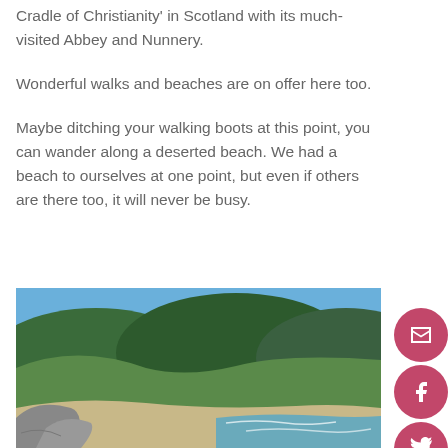Cradle of Christianity' in Scotland with its much-visited Abbey and Nunnery.
Wonderful walks and beaches are on offer here too.
Maybe ditching your walking boots at this point, you can wander along a deserted beach. We had a beach to ourselves at one point, but even if others are there too, it will never be busy.
[Figure (photo): A scenic beach with green hills in the background under a blue sky, rocky coastline in the foreground with sandy beach and gentle waves.]